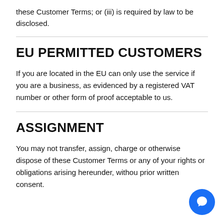these Customer Terms; or (iii) is required by law to be disclosed.
EU PERMITTED CUSTOMERS
If you are located in the EU can only use the service if you are a business, as evidenced by a registered VAT number or other form of proof acceptable to us.
ASSIGNMENT
You may not transfer, assign, charge or otherwise dispose of these Customer Terms or any of your rights or obligations arising hereunder, withou prior written consent.